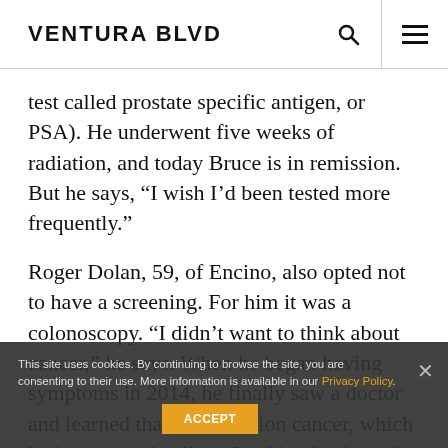VENTURA BLVD
test called prostate specific antigen, or PSA). He underwent five weeks of radiation, and today Bruce is in remission. But he says, “I wish I’d been tested more frequently.”
Roger Dolan, 59, of Encino, also opted not to have a screening. For him it was a colonoscopy. “I didn’t want to think about cancer,” he says. When he began having symptoms in 2014, he finally saw a doctor and learned that he had colon cancer, which had spread to his liver. Looking back on the stress
This site uses cookies. By continuing to browse the site, you are consenting to their use. More information is available in our Privacy Policy.